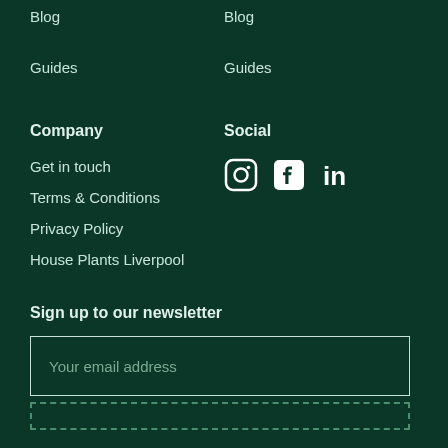Blog
Blog
Guides
Guides
Company
Social
Get in touch
[Figure (infographic): Social media icons: Instagram, Facebook, LinkedIn]
Terms & Conditions
Privacy Policy
House Plants Liverpool
Sign up to our newsletter
Your email address